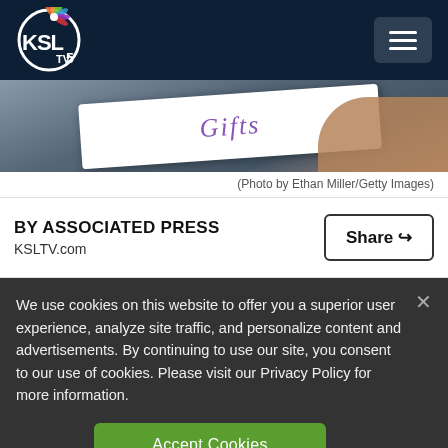KSL TV 5
[Figure (photo): Partial photo showing a hand holding a card with decorative script text, cropped at top of page]
(Photo by Ethan Miller/Getty Images)
BY ASSOCIATED PRESS
KSLTV.com
We use cookies on this website to offer you a superior user experience, analyze site traffic, and personalize content and advertisements. By continuing to use our site, you consent to our use of cookies. Please visit our Privacy Policy for more information.
Accept Cookies